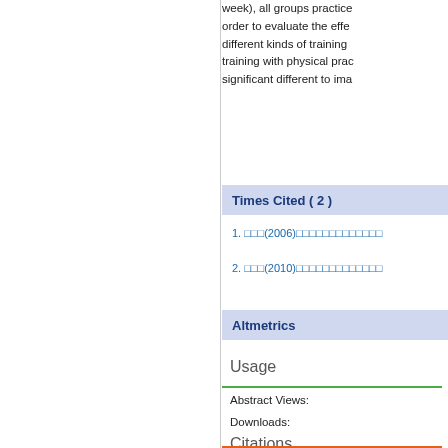week), all groups practice... order to evaluate the effe... different kinds of training... training with physical prac... significant different to ima...
Times Cited ( 2 )
1. □□□(2006)□□□□□□□□□□□□□□□
2. □□□(2010)□□□□□□□□□□□□□□□
Altmetrics
Usage
Abstract Views:
Downloads:
Citations